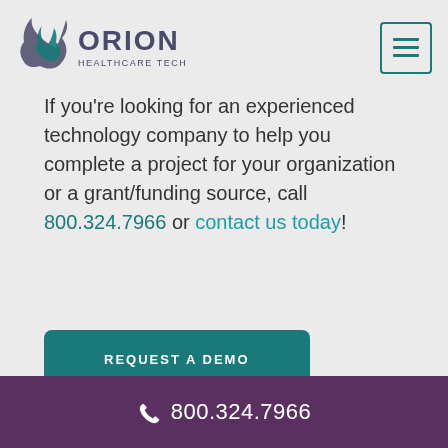[Figure (logo): Orion Healthcare Technology logo with stylized leaf/ribbon icon and text 'ORION HEALTHCARE TECHNOLOGY']
If you're looking for an experienced technology company to help you complete a project for your organization or a grant/funding source, call 800.324.7966 or contact us today!
REQUEST A DEMO
800.324.7966